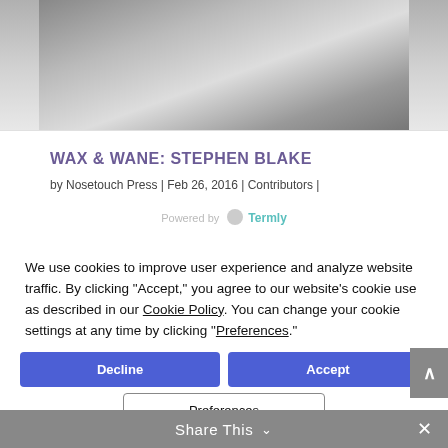[Figure (photo): Black and white photograph of a person, partially cropped at top]
WAX & WANE: STEPHEN BLAKE
by Nosetouch Press | Feb 26, 2016 | Contributors | 0 Comments
Powered by Termly
We use cookies to improve user experience and analyze website traffic. By clicking “Accept,” you agree to our website’s cookie use as described in our Cookie Policy. You can change your cookie settings at any time by clicking “Preferences.”
Decline
Accept
Preferences
Share This